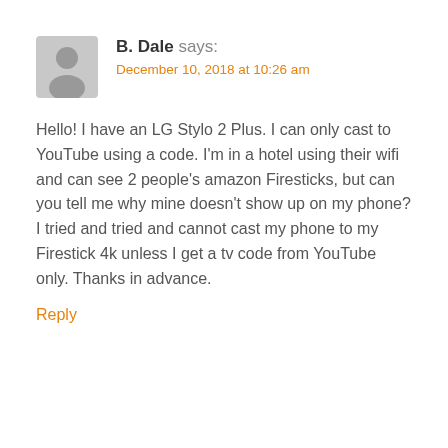[Figure (illustration): Grey silhouette avatar icon of a person, rounded square shape]
B. Dale says:
December 10, 2018 at 10:26 am
Hello! I have an LG Stylo 2 Plus. I can only cast to YouTube using a code. I'm in a hotel using their wifi and can see 2 people's amazon Firesticks, but can you tell me why mine doesn't show up on my phone? I tried and tried and cannot cast my phone to my Firestick 4k unless I get a tv code from YouTube only. Thanks in advance.
Reply